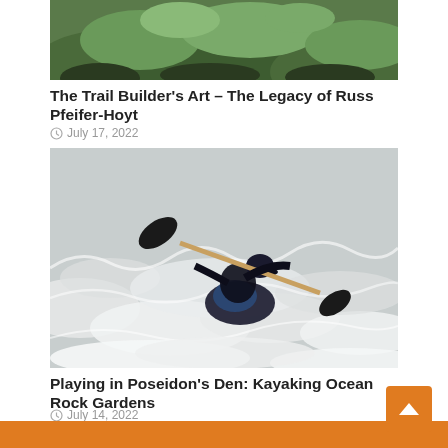[Figure (photo): Partial view of a forest/trail scene with green mossy rocks — top portion of image cropped]
The Trail Builder’s Art – The Legacy of Russ Pfeifer-Hoyt
● July 17, 2022
[Figure (photo): A kayaker in dark gear paddling through turbulent white water rapids, holding a wooden-shaft paddle overhead]
Playing in Poseidon’s Den: Kayaking Ocean Rock Gardens
● July 14, 2022